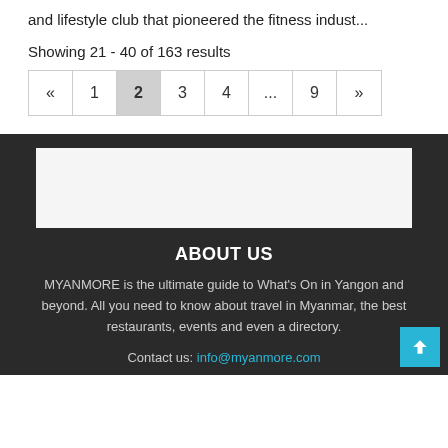and lifestyle club that pioneered the fitness indust...
Showing 21 - 40 of 163 results
[Figure (other): Pagination control with buttons: «, 1, 2 (active/highlighted), 3, 4, ..., 9, »]
[Figure (other): Advertisement placeholder box (light gray rectangle)]
ABOUT US
MYANMORE is the ultimate guide to What's On in Yangon and beyond. All you need to know about travel in Myanmar, the best restaurants, events and even a directory.
Contact us: info@myanmore.com